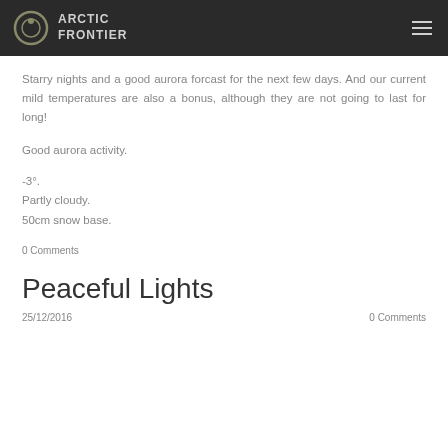ARCTIC FRONTIER
Starry nights and a good aurora forcast for the next few days. And our current mild temperatures are also a bonus, although they are not going to last for long!
Good aurora activity.
-3°.
Partly cloudy.
50cm snow base.
0 Comments
Peaceful Lights
25/12/2016
0 Comments